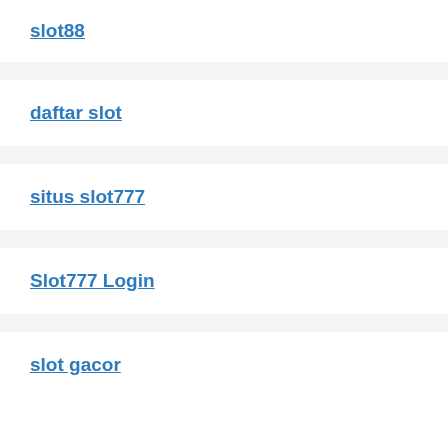slot88
daftar slot
situs slot777
Slot777 Login
slot gacor